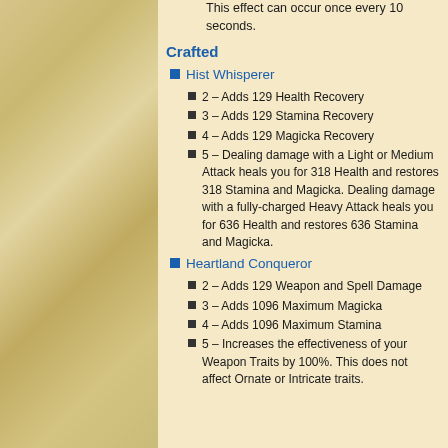This effect can occur once every 10 seconds.
Crafted
Hist Whisperer
2 – Adds 129 Health Recovery
3 – Adds 129 Stamina Recovery
4 – Adds 129 Magicka Recovery
5 – Dealing damage with a Light or Medium Attack heals you for 318 Health and restores 318 Stamina and Magicka. Dealing damage with a fully-charged Heavy Attack heals you for 636 Health and restores 636 Stamina and Magicka.
Heartland Conqueror
2 – Adds 129 Weapon and Spell Damage
3 – Adds 1096 Maximum Magicka
4 – Adds 1096 Maximum Stamina
5 – Increases the effectiveness of your Weapon Traits by 100%. This does not affect Ornate or Intricate traits.